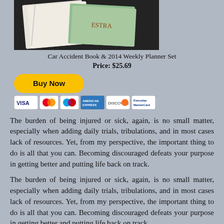[Figure (photo): Photo of Car Accident Book and 2014 Weekly Planner Set on a dark surface]
Car Accident Book & 2014 Weekly Planner Set
Price: $25.69
[Figure (infographic): Buy Now PayPal button with payment card icons (Visa, Mastercard, etc.)]
The burden of being injured or sick, again, is no small matter, especially when adding daily trials, tribulations, and in most cases lack of resources.  Yet, from my perspective, the important thing to do is all that you can.  Becoming discouraged defeats your purpose in getting better and putting life back on track.
The burden of being injured or sick, again, is no small matter, especially when adding daily trials, tribulations, and in most cases lack of resources.  Yet, from my perspective, the important thing to do is all that you can.  Becoming discouraged defeats your purpose in getting better and putting life back on track.
One must consider the overall picture in recovery, and only you have the authority to set path direction.  It will be your determination and will that will get you to a desired destination